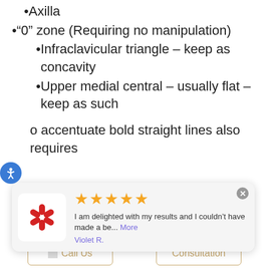Axilla
“0” zone (Requiring no manipulation)
Infraclavicular triangle – keep as concavity
Upper medial central – usually flat – keep as such
o accentuate bold straight lines also requires
The inferior line is accentuated by creating an infra-pectoral groove, upper aspect of